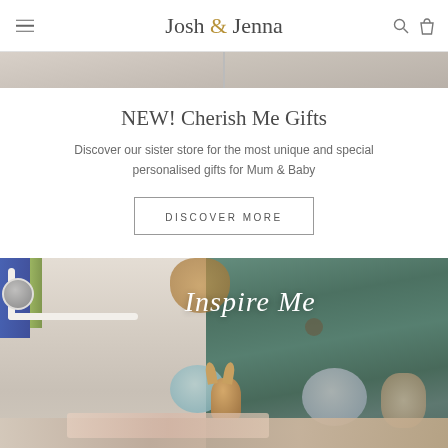Josh & Jenna
[Figure (photo): Top partial image strip showing two product photos side by side]
NEW! Cherish Me Gifts
Discover our sister store for the most unique and special personalised gifts for Mum & Baby
DISCOVER MORE
[Figure (photo): Children's bedroom with nature-themed wallpaper, stuffed animal bunny, pillows, wooden bed frame, and 'Inspire Me' text overlay in cursive white script]